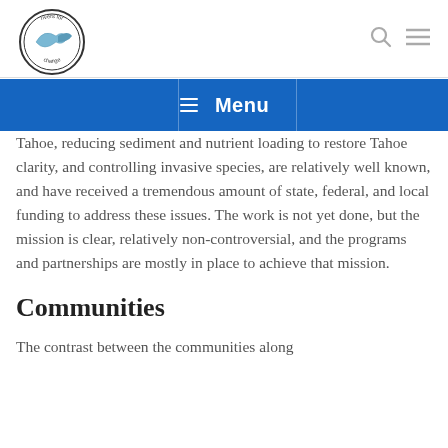[Figure (logo): Rivers for Change circular logo with fish/bird illustration]
Menu
Tahoe, reducing sediment and nutrient loading to restore Tahoe clarity, and controlling invasive species, are relatively well known, and have received a tremendous amount of state, federal, and local funding to address these issues. The work is not yet done, but the mission is clear, relatively non-controversial, and the programs and partnerships are mostly in place to achieve that mission.
Communities
The contrast between the communities along